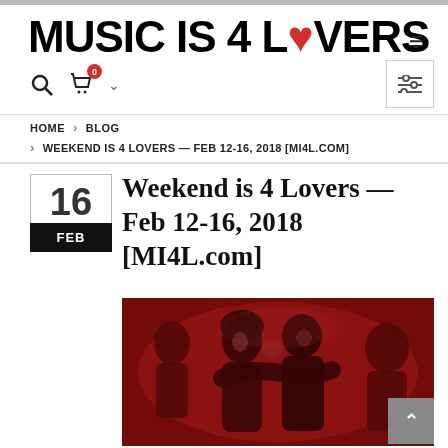MUSIC IS 4 LOVERS
HOME > BLOG > WEEKEND IS 4 LOVERS — FEB 12-16, 2018 [MI4L.COM]
Weekend is 4 Lovers — Feb 12-16, 2018 [MI4L.com]
[Figure (photo): People dancing closely together in red/amber lighting at a nightclub or dance event]